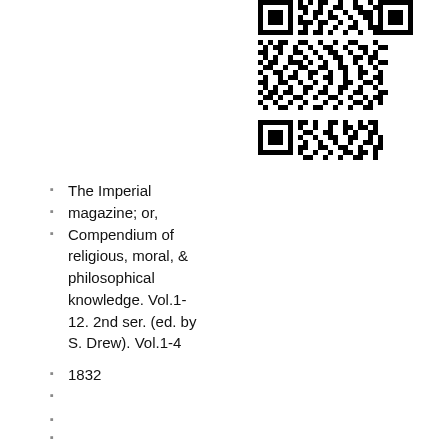[Figure (other): QR code image in upper right area of the page]
The Imperial
magazine; or,
Compendium of religious, moral, & philosophical knowledge. Vol.1-12. 2nd ser. (ed. by S. Drew). Vol.1-4
1832
□□□□□□□□□